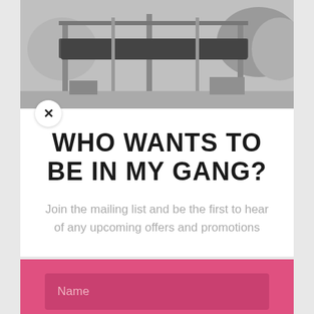[Figure (photo): Grayscale photograph showing outdoor structures, canopy/tent frames and foliage in the background]
WHO WANTS TO BE IN MY GANG?
Join the mailing list and be the first to hear of any upcoming offers and promotions
Name
Email
SUBSCRIBE!